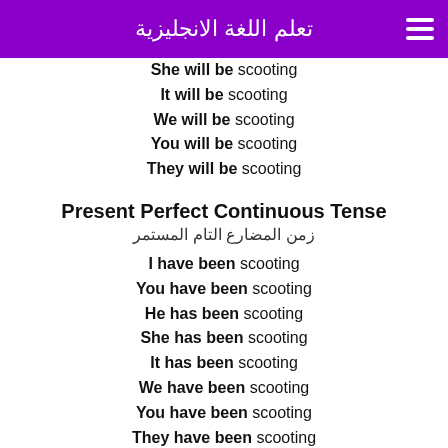تعلم اللغة الانجليزية
She will be scooting
It will be scooting
We will be scooting
You will be scooting
They will be scooting
Present Perfect Continuous Tense
زمن المضارع التام المستمر
I have been scooting
You have been scooting
He has been scooting
She has been scooting
It has been scooting
We have been scooting
You have been scooting
They have been scooting